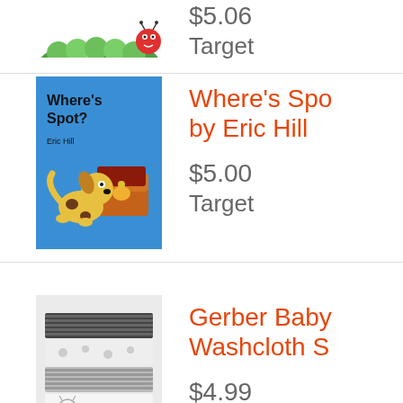[Figure (photo): Book cover for The Very Hungry Caterpillar, cropped at top showing caterpillar illustrations]
$5.06
Target
[Figure (photo): Book cover for Where's Spot? by Eric Hill, showing a yellow dog looking in a treasure chest on a blue background]
Where's Spot? by Eric Hill
$5.00
Target
[Figure (photo): Gerber Baby Washcloth Set product image showing folded grey and white patterned washcloths]
Gerber Baby Washcloth S...
$4.99
Target